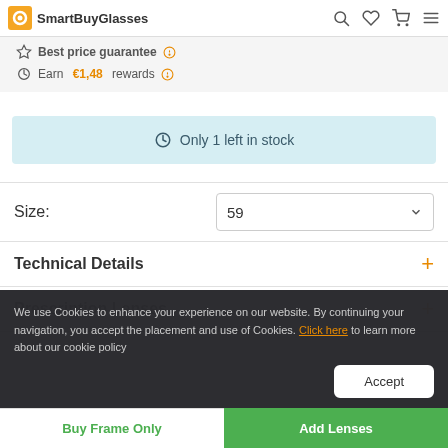SmartBuyGlasses
Best price guarantee
Earn €1,48 rewards
Only 1 left in stock
Size: 59
Technical Details
Prescription Lenses
We use Cookies to enhance your experience on our website. By continuing your navigation, you accept the placement and use of Cookies. Click here to learn more about our cookie policy
Buy Frame Only
Add Lenses